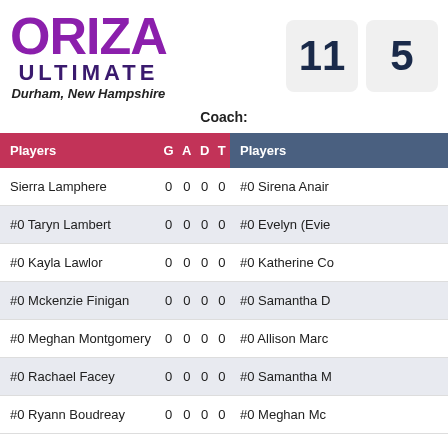[Figure (logo): Oriza Ultimate logo with decorative purple lettering, subtitle ULTIMATE, and location Durham, New Hampshire]
11
5
Coach:
| Players | G | A | D | T |
| --- | --- | --- | --- | --- |
| Sierra Lamphere | 0 | 0 | 0 | 0 |
| #0 Taryn Lambert | 0 | 0 | 0 | 0 |
| #0 Kayla Lawlor | 0 | 0 | 0 | 0 |
| #0 Mckenzie Finigan | 0 | 0 | 0 | 0 |
| #0 Meghan Montgomery | 0 | 0 | 0 | 0 |
| #0 Rachael Facey | 0 | 0 | 0 | 0 |
| #0 Ryann Boudreay | 0 | 0 | 0 | 0 |
| Players |
| --- |
| #0 Sirena Anairi |
| #0 Evelyn (Evie |
| #0 Katherine Co |
| #0 Samantha D |
| #0 Allison Marc |
| #0 Samantha M |
| #0 Meghan Mc |